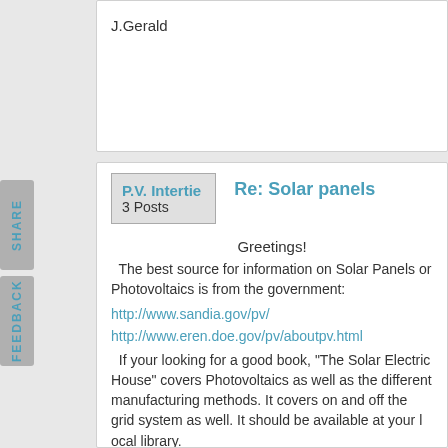J.Gerald
P.V. Intertie
3 Posts
Re: Solar panels
Greetings!
The best source for information on Solar Panels or Photovoltaics (PV) is from the government:
http://www.sandia.gov/pv/
http://www.eren.doe.gov/pv/aboutpv.html
If your looking for a good book, 'The Solar Electric House' covers Photovoltaics as well as the different manufacturing methods. It covers on and off the grid system as well. It should be available at your local library.
You also might want to so some looking though HomePower Magazine. They do one or two on photovoltaics. Their site is located at:
http://www.homepower.com/
Finally, if your looking to purchase individual solar cells, they would have to be ordered in large quantities. I hope this